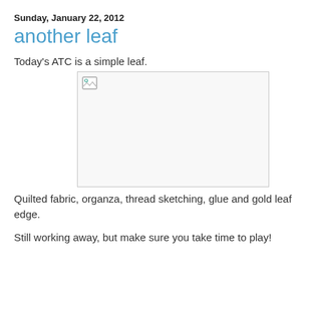Sunday, January 22, 2012
another leaf
Today's ATC is a simple leaf.
[Figure (photo): Broken/missing image placeholder box with broken image icon in top-left corner]
Quilted fabric, organza, thread sketching, glue and gold leaf edge.
Still working away,  but make sure you take time to play!